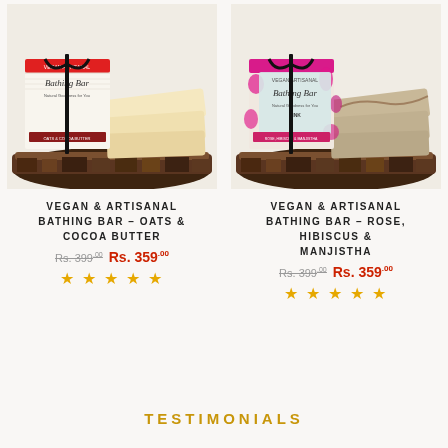[Figure (photo): Vegan artisanal bathing bar - Oats & Cocoa Butter product photo with soaps on wood bark platter, red accent label with black ribbon]
[Figure (photo): Vegan artisanal bathing bar - Rose, Hibiscus & Manjistha product photo with soaps on wood bark platter, pink/magenta accent label with black ribbon]
VEGAN & ARTISANAL BATHING BAR – OATS & COCOA BUTTER
Rs. 399.00  Rs. 359.00  ★★★★★
VEGAN & ARTISANAL BATHING BAR – ROSE, HIBISCUS & MANJISTHA
Rs. 399.00  Rs. 359.00  ★★★★★
TESTIMONIALS